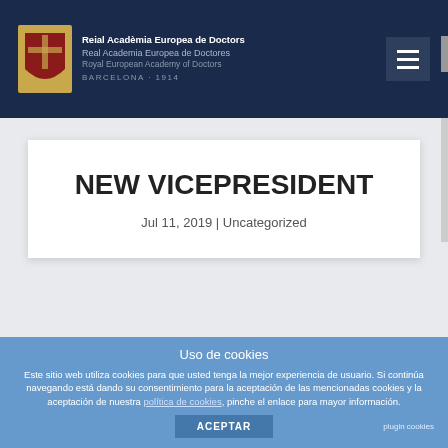Reial Acadèmia Europea de Doctors | Real Academia Europea de Doctores | Royal European Academy of Doctors | BARCELONA · 1914
NEW VICEPRESIDENT
Jul 11, 2019 | Uncategorized
Uso de cookies
Este sitio web utiliza cookies para que usted tenga la mejor experiencia de usuario. Si continúa navegando está dando su consentimiento para la aceptación de las mencionadas cookies y la aceptación de nuestra política de cookies, pinche el enlace para mayor información.
ACEPTAR
plugin cookies